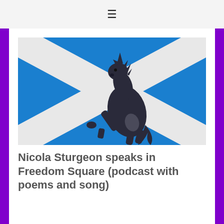≡
[Figure (illustration): Scottish Saltire flag (blue with white diagonal cross) with a dark silhouette of a rearing unicorn overlaid in the center]
Nicola Sturgeon speaks in Freedom Square (podcast with poems and song)
[Read More...]